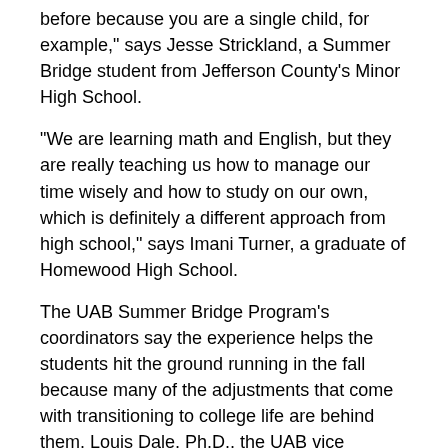before because you are a single child, for example," says Jesse Strickland, a Summer Bridge student from Jefferson County's Minor High School.
"We are learning math and English, but they are really teaching us how to manage our time wisely and how to study on our own, which is definitely a different approach from high school," says Imani Turner, a graduate of Homewood High School.
The UAB Summer Bridge Program's coordinators say the experience helps the students hit the ground running in the fall because many of the adjustments that come with transitioning to college life are behind them. Louis Dale, Ph.D., the UAB vice president for Equity and Diversity, says more than 90 percent of Summer Bridge participants go on to complete their college degree.
"We have had wonderful feedback from our past participants that this program makes a real difference in their approach to life on campus and their overall success in the classroom," Dale says.